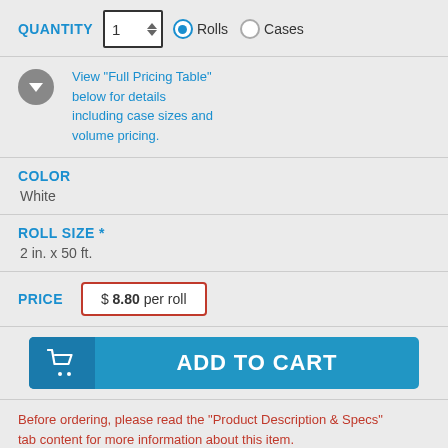QUANTITY  1  Rolls  Cases
View "Full Pricing Table" below for details including case sizes and volume pricing.
COLOR
White
ROLL SIZE *
2 in. x 50 ft.
PRICE
$ 8.80 per roll
ADD TO CART
Before ordering, please read the "Product Description & Specs" tab content for more information about this item.